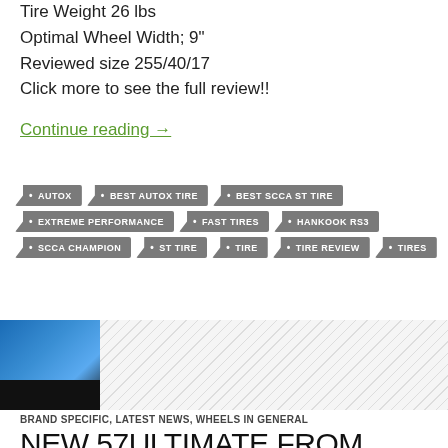Tire Weight 26 lbs
Optimal Wheel Width; 9"
Reviewed size 255/40/17
Click more to see the full review!!
Continue reading →
AUTOX
BEST AUTOX TIRE
BEST SCCA ST TIRE
EXTREME PERFORMANCE
FAST TIRES
HANKOOK RS3
SCCA CHAMPION
ST TIRE
TIRE
TIRE REVIEW
TIRES
[Figure (photo): Blue car partial view on left, hatched/diagonal stripe pattern on right]
BRAND SPECIFIC, LATEST NEWS, WHEELS IN GENERAL
NEW 57ULTIMATE FROM